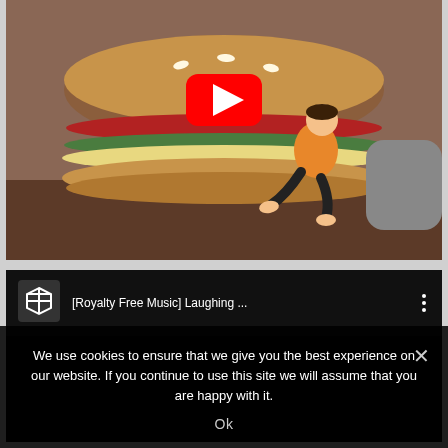[Figure (screenshot): YouTube video thumbnail showing an animated scene of a cartoon character sitting on a giant hamburger sofa. A red YouTube play button is overlaid in the center.]
[Figure (screenshot): YouTube embedded video player with black background showing title '[Royalty Free Music] Laughing ...' with a cube-shaped channel icon on the left and a three-dot menu on the right.]
We use cookies to ensure that we give you the best experience on our website. If you continue to use this site we will assume that you are happy with it.
Ok